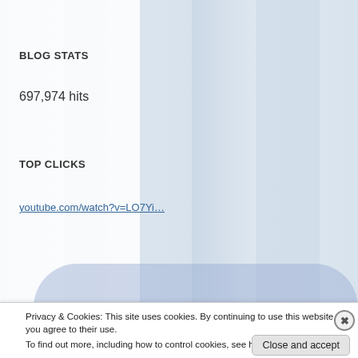[Figure (screenshot): Blurry background collage of book/magazine cover images in muted blue-grey tones, forming the page background]
BLOG STATS
697,974 hits
TOP CLICKS
youtube.com/watch?v=LO7Yi…
Advertisements
Privacy & Cookies: This site uses cookies. By continuing to use this website, you agree to their use.
To find out more, including how to control cookies, see here: Cookie Policy
Close and accept